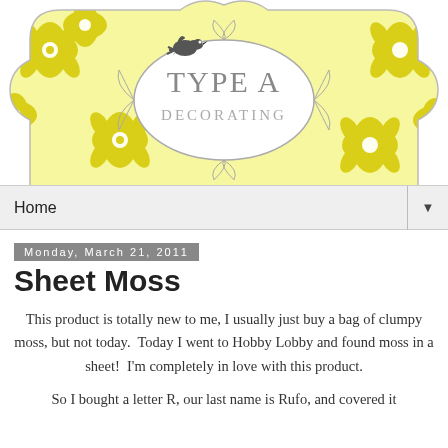[Figure (logo): Type A Decorating blog header banner with yellow and white damask pattern background, ornate frame in center containing 'TYPE A DECORATING' text in gray, small dark bird silhouette above the frame]
Home ▼
Monday, March 21, 2011
Sheet Moss
This product is totally new to me, I usually just buy a bag of clumpy moss, but not today.  Today I went to Hobby Lobby and found moss in a sheet!  I'm completely in love with this product.
So I bought a letter R, our last name is Rufo, and covered it